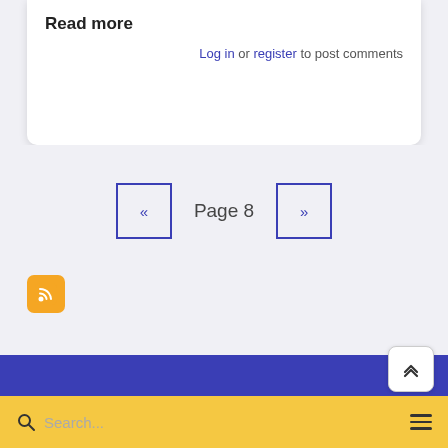Read more
Log in or register to post comments
« Page 8 »
[Figure (other): RSS feed icon — orange rounded square with white RSS symbol]
[Figure (other): Blue footer banner section]
[Figure (other): Back to top button with upward chevron arrows]
Search...